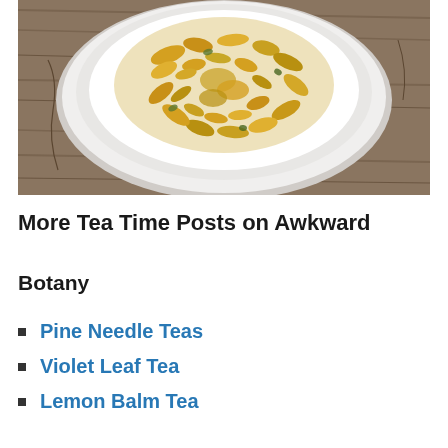[Figure (photo): A white bowl viewed from above, filled with dried yellow and green herbal flowers/petals, placed on a weathered wooden surface.]
More Tea Time Posts on Awkward
Botany
Pine Needle Teas
Violet Leaf Tea
Lemon Balm Tea